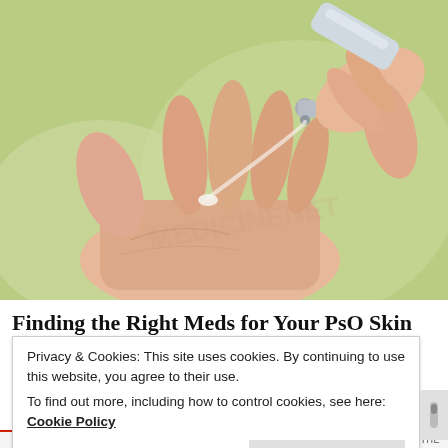[Figure (photo): Close-up photo of a hand with an open palm, and another hand squeezing cream from a small silver tube onto the palm. Background is blurred light green/outdoor setting.]
Finding the Right Meds for Your PsO Skin
Privacy & Cookies: This site uses cookies. By continuing to use this website, you agree to their use.
To find out more, including how to control cookies, see here: Cookie Policy